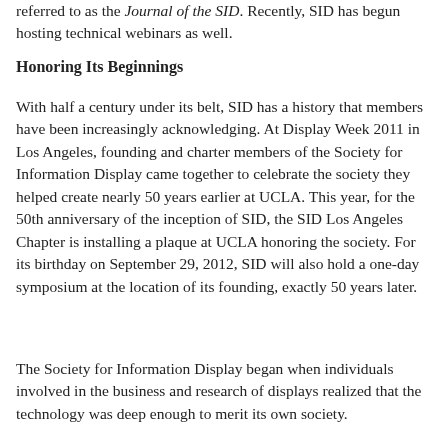referred to as the Journal of the SID. Recently, SID has begun hosting technical webinars as well.
Honoring Its Beginnings
With half a century under its belt, SID has a history that members have been increasingly acknowledging. At Display Week 2011 in Los Angeles, founding and charter members of the Society for Information Display came together to celebrate the society they helped create nearly 50 years earlier at UCLA. This year, for the 50th anniversary of the inception of SID, the SID Los Angeles Chapter is installing a plaque at UCLA honoring the society. For its birthday on September 29, 2012, SID will also hold a one-day symposium at the location of its founding, exactly 50 years later.
The Society for Information Display began when individuals involved in the business and research of displays realized that the technology was deep enough to merit its own society.